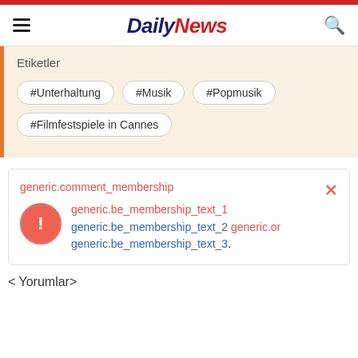DailyNews
Etiketler
#Unterhaltung
#Musik
#Popmusik
#Filmfestspiele in Cannes
generic.comment_membership generic.be_membership_text_1 generic.be_membership_text_2 generic.or generic.be_membership_text_3.
< Yorumlar>